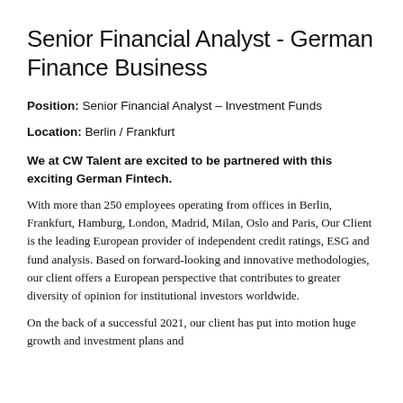Senior Financial Analyst - German Finance Business
Position: Senior Financial Analyst – Investment Funds
Location: Berlin / Frankfurt
We at CW Talent are excited to be partnered with this exciting German Fintech.
With more than 250 employees operating from offices in Berlin, Frankfurt, Hamburg, London, Madrid, Milan, Oslo and Paris, Our Client is the leading European provider of independent credit ratings, ESG and fund analysis. Based on forward-looking and innovative methodologies, our client offers a European perspective that contributes to greater diversity of opinion for institutional investors worldwide.
On the back of a successful 2021, our client has put into motion huge growth and investment plans and